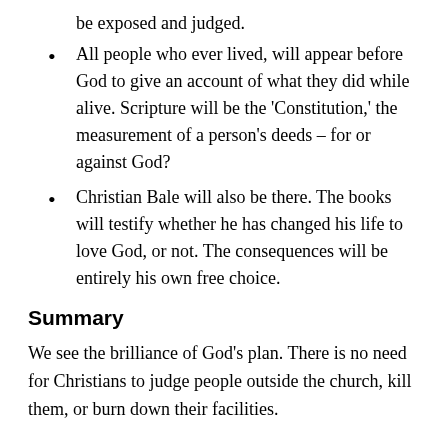be exposed and judged.
All people who ever lived, will appear before God to give an account of what they did while alive. Scripture will be the ‘Constitution,’ the measurement of a person’s deeds – for or against God?
Christian Bale will also be there. The books will testify whether he has changed his life to love God, or not. The consequences will be entirely his own free choice.
Summary
We see the brilliance of God’s plan. There is no need for Christians to judge people outside the church, kill them, or burn down their facilities. God is the judge and He has a point of justice for